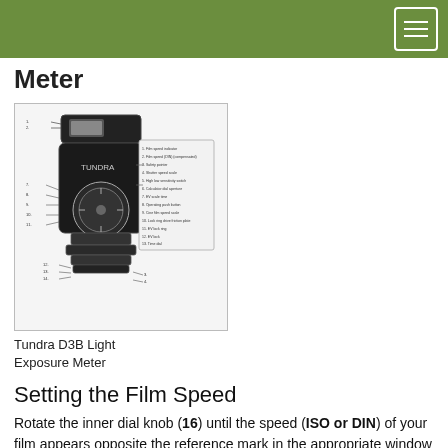Meter
[Figure (illustration): Tundra D3B Light Exposure Meter diagram showing labeled parts of the device]
Tundra D3B Light Exposure Meter
Setting the Film Speed
Rotate the inner dial knob (16) until the speed (ISO or DIN) of your film appears opposite the reference mark in the appropriate window (13) or (14).
Selecting the Correct Sensitivity Range
To measure subjects illuminated by normal or bright light